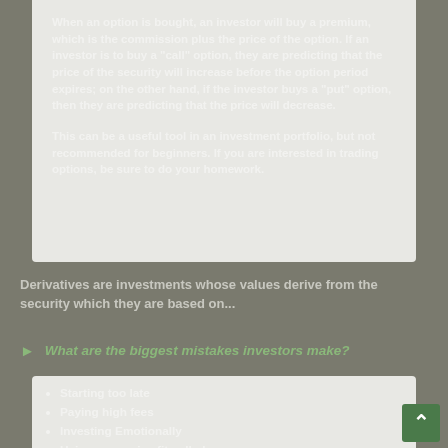When an option is bought, an investor will buy a premium, which is the commission plus the price of the option. If an investor is to buy a "call" option, they are predicting that the price of the security will increase before the option period expires; on the other hand, if the investor buys a "put" option, then they are predicting that the price will decrease.
This can be a useful tool in an investment portfolio, but not recommended for beginners. If you are interested in trading options, be sure to do your homework.
Derivatives are investments whose values derive from the security which they are based on...
What are the biggest mistakes investors make?
Starting too late
Paying high fees
Investing Emotionally
Using a one-size-fits-all plan
Not taking taxes into consideration
Overly Risky Investing